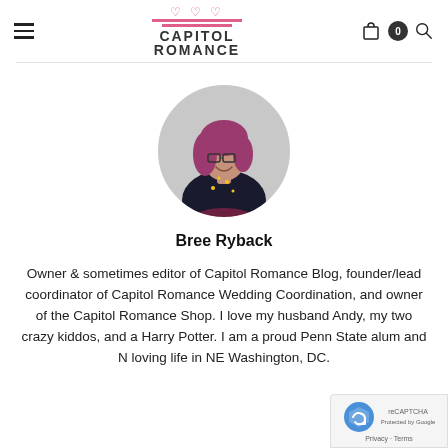Capitol Romance
[Figure (photo): Circular profile photo of Bree Ryback, a woman with pink/purple hair and glasses, smiling, wearing a dark floral top]
Bree Ryback
Owner & sometimes editor of Capitol Romance Blog, founder/lead coordinator of Capitol Romance Wedding Coordination, and owner of the Capitol Romance Shop. I love my husband Andy, my two crazy kiddos, and all things Harry Potter. I am a proud Penn State alum and N loving life in NE Washington, DC.